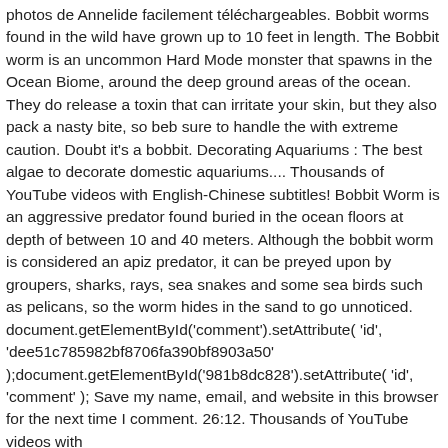photos de Annelide facilement téléchargeables. Bobbit worms found in the wild have grown up to 10 feet in length. The Bobbit worm is an uncommon Hard Mode monster that spawns in the Ocean Biome, around the deep ground areas of the ocean. They do release a toxin that can irritate your skin, but they also pack a nasty bite, so beb sure to handle the with extreme caution. Doubt it's a bobbit. Decorating Aquariums : The best algae to decorate domestic aquariums.... Thousands of YouTube videos with English-Chinese subtitles! Bobbit Worm is an aggressive predator found buried in the ocean floors at depth of between 10 and 40 meters. Although the bobbit worm is considered an apiz predator, it can be preyed upon by groupers, sharks, rays, sea snakes and some sea birds such as pelicans, so the worm hides in the sand to go unnoticed. document.getElementById('comment').setAttribute( 'id', 'dee51c785982bf8706fa390bf8903a50' );document.getElementById('981b8dc828').setAttribute( 'id', 'comment' ); Save my name, email, and website in this browser for the next time I comment. 26:12. Thousands of YouTube videos with